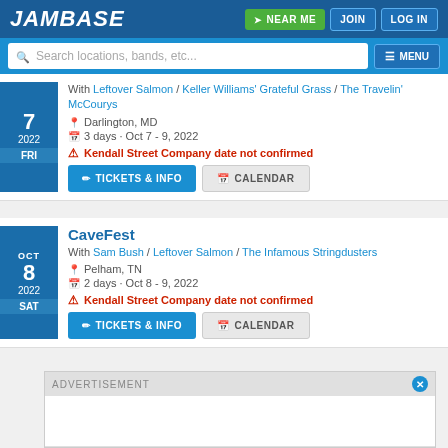JamBase | NEAR ME | JOIN | LOG IN
Search locations, bands, etc... MENU
7 2022 FRI — With Leftover Salmon / Keller Williams' Grateful Grass / The Travelin' McCourys — Darlington, MD — 3 days · Oct 7 - 9, 2022 — Kendall Street Company date not confirmed
TICKETS & INFO | CALENDAR
CaveFest
OCT 8 2022 SAT — CaveFest — With Sam Bush / Leftover Salmon / The Infamous Stringdusters — Pelham, TN — 2 days · Oct 8 - 9, 2022 — Kendall Street Company date not confirmed
TICKETS & INFO | CALENDAR
ADVERTISEMENT